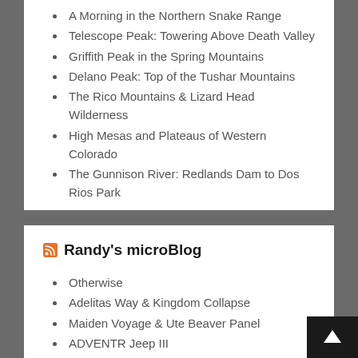A Morning in the Northern Snake Range
Telescope Peak: Towering Above Death Valley
Griffith Peak in the Spring Mountains
Delano Peak: Top of the Tushar Mountains
The Rico Mountains & Lizard Head Wilderness
High Mesas and Plateaus of Western Colorado
The Gunnison River: Redlands Dam to Dos Rios Park
Randy's microBlog
Otherwise
Adelitas Way & Kingdom Collapse
Maiden Voyage & Ute Beaver Panel
ADVENTR Jeep III
Escape The Fate & Violent New Breed
The Trinity of Terror Tour